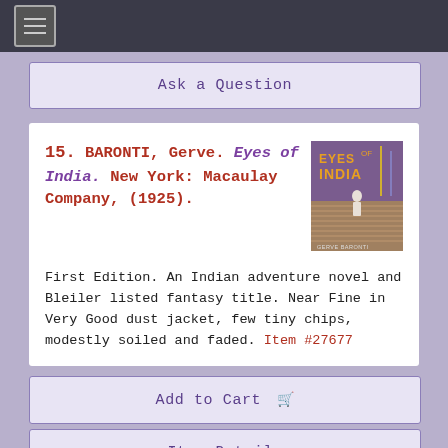≡ (navigation menu)
Ask a Question
15. BARONTI, Gerve. Eyes of India. New York: Macaulay Company, (1925).
[Figure (illustration): Book cover of 'Eyes of India' by Gerve Baronti, showing a person in white on steps with stylized text in orange/yellow on purple background]
First Edition. An Indian adventure novel and Bleiler listed fantasy title. Near Fine in Very Good dust jacket, few tiny chips, modestly soiled and faded. Item #27677
Add to Cart 🛒
Item Details